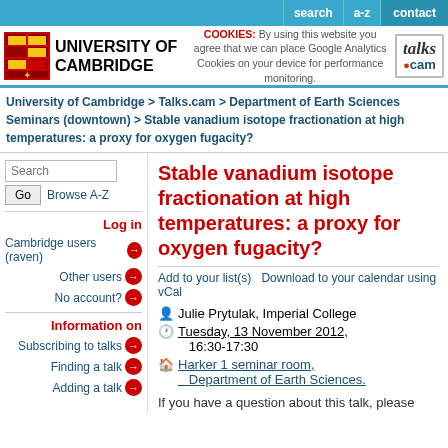search | a-z | contact
[Figure (logo): University of Cambridge shield logo and wordmark with COOKIES notice and talks.cam logo]
University of Cambridge > Talks.cam > Department of Earth Sciences Seminars (downtown) > Stable vanadium isotope fractionation at high temperatures: a proxy for oxygen fugacity?
Stable vanadium isotope fractionation at high temperatures: a proxy for oxygen fugacity?
Add to your list(s)    Download to your calendar using vCal
Julie Prytulak, Imperial College
Tuesday 13 November 2012, 16:30-17:30
Harker 1 seminar room, Department of Earth Sciences.
If you have a question about this talk, please contact John
Log in
Cambridge users (raven)
Other users
No account?
Information on
Subscribing to talks
Finding a talk
Adding a talk